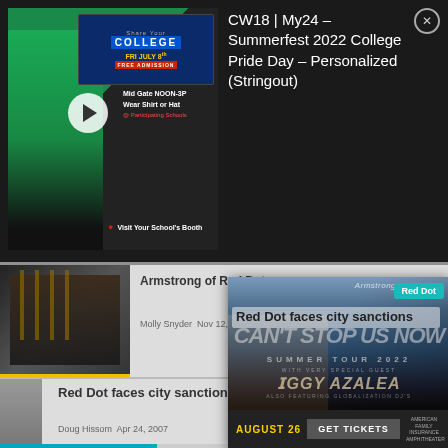[Figure (screenshot): CW18 My24 Summerfest 2022 College Pride Day video thumbnail with woman in TV Milwaukee shirt and college sign, play button overlay]
CW18 | My24 – Summerfest 2022 College Pride Day – Personalized (Stringout)
[Figure (photo): Article thumbnail showing bar/club interior with people]
Armstrong of Red Dot
Molly Snyder  Nov 12, 2010
Bars & Clubs
[Figure (photo): Pitbull and Iggy Azalea concert poster for Can't Stop Us Now Summer Tour 2022, August 26, Get Tickets]
Red Dot
Red Dot faces city sanctions
Doug Hissom  Apr 24, 2007
Bars & Clubs